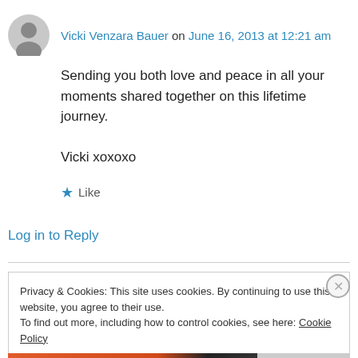Vicki Venzara Bauer on June 16, 2013 at 12:21 am
Sending you both love and peace in all your moments shared together on this lifetime journey.

Vicki xoxoxo
★ Like
Log in to Reply
Privacy & Cookies: This site uses cookies. By continuing to use this website, you agree to their use.
To find out more, including how to control cookies, see here: Cookie Policy
Close and accept